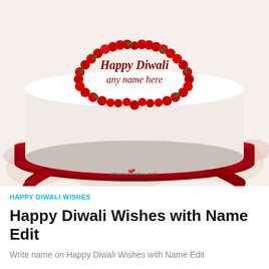[Figure (photo): A white round celebration cake decorated with red rose frosting in a heart shape on top, with text 'Happy Diwali any name here' written in red script inside the heart. The cake sits on a red glittery base with a red satin ribbon bow. The background shows a floral patterned surface. A watermark reads eNameWishes.com at the bottom.]
HAPPY DIWALI WISHES
Happy Diwali Wishes with Name Edit
Write name on Happy Diwali Wishes with Name Edit